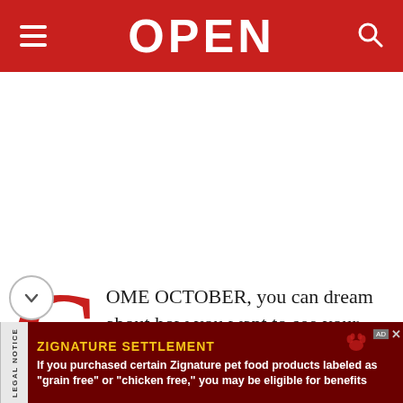OPEN
COME OCTOBER, you can dream about how you want to see your garden for the next six months. Summer heat is behind you, the last of the monsoon rains will
[Figure (infographic): Advertisement banner: ZIGNATURE SETTLEMENT - Legal Notice. Text reads: If you purchased certain Zignature pet food products labeled as "grain free" or "chicken free," you may be eligible for benefits]